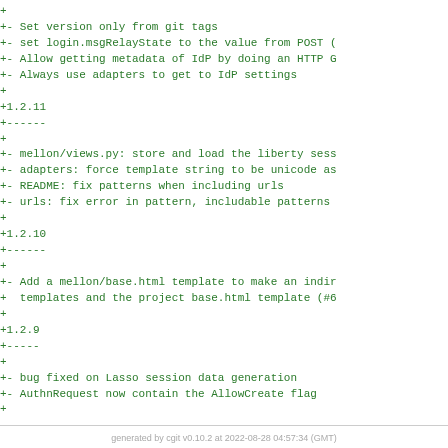+
+- Set version only from git tags
+- set login.msgRelayState to the value from POST (
+- Allow getting metadata of IdP by doing an HTTP G
+- Always use adapters to get to IdP settings
+
+1.2.11
+------
+
+- mellon/views.py: store and load the liberty sess
+- adapters: force template string to be unicode as
+- README: fix patterns when including urls
+- urls: fix error in pattern, includable patterns
+
+1.2.10
+------
+
+- Add a mellon/base.html template to make an indir
+  templates and the project base.html template (#6
+
+1.2.9
+-----
+
+- bug fixed on Lasso session data generation
+- AuthnRequest now contain the AllowCreate flag
+
generated by cgit v0.10.2 at 2022-08-28 04:57:34 (GMT)